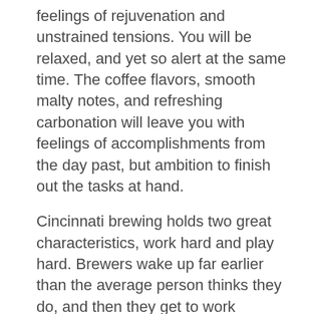feelings of rejuvenation and unstrained tensions. You will be relaxed, and yet so alert at the same time. The coffee flavors, smooth malty notes, and refreshing carbonation will leave you with feelings of accomplishments from the day past, but ambition to finish out the tasks at hand.
Cincinnati brewing holds two great characteristics, work hard and play hard. Brewers wake up far earlier than the average person thinks they do, and then they get to work brewing the beer that we all enjoy. Their day is not any less stressful than many of our own. There are challenges, problems, accomplishments, and satisfaction throughout the day. We can all relate to the end of the day, the hard work has paid off, we have set goals for tomorrow, and for now, we can enjoy some beer. One of the great ideologies that Mt. Carmel Brewing holds is porch drinking. Yes, that's right. Sitting on a porch and